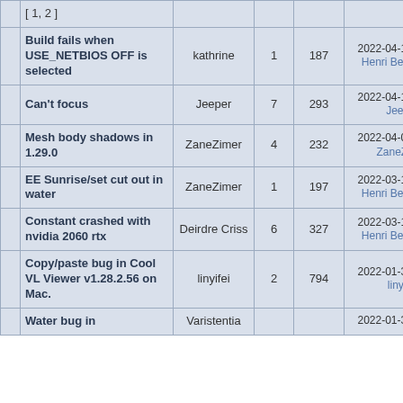|  | Topic | Started by | Replies | Views | Last post |
| --- | --- | --- | --- | --- | --- |
|  | [ 1, 2 ] |  |  |  |  |
|  | Build fails when USE_NETBIOS OFF is selected | kathrine | 1 | 187 | 2022-04-13 23:0… Henri Beaucha… |
|  | Can't focus | Jeeper | 7 | 293 | 2022-04-12 01:4… Jeeper |
|  | Mesh body shadows in 1.29.0 | ZaneZimer | 4 | 232 | 2022-04-05 18:4… ZaneZimer |
|  | EE Sunrise/set cut out in water | ZaneZimer | 1 | 197 | 2022-03-19 09:1… Henri Beaucha… |
|  | Constant crashed with nvidia 2060 rtx | Deirdre Criss | 6 | 327 | 2022-03-13 12:0… Henri Beaucha… |
|  | Copy/paste bug in Cool VL Viewer v1.28.2.56 on Mac. | linyifei | 2 | 794 | 2022-01-31 01:1… linyifei |
|  | Water bug in | Varistentia | ? | ??? | 2022-01-30 18:4… |